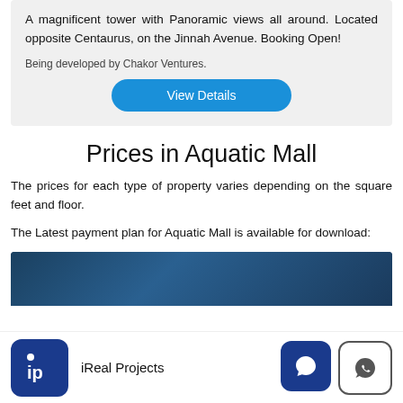A magnificent tower with Panoramic views all around. Located opposite Centaurus, on the Jinnah Avenue. Booking Open!
Being developed by Chakor Ventures.
View Details
Prices in Aquatic Mall
The prices for each type of property varies depending on the square feet and floor.
The Latest payment plan for Aquatic Mall is available for download:
[Figure (photo): Partial view of Aquatic Mall building exterior with dark blue tones]
iReal Projects